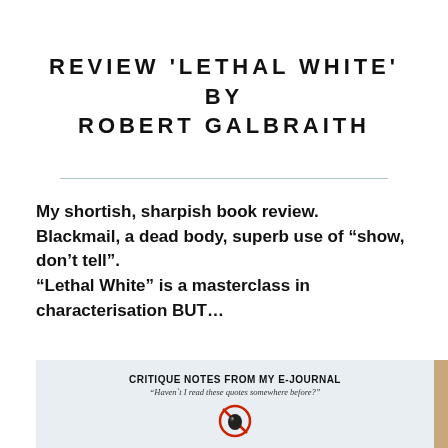REVIEW 'LETHAL WHITE' BY ROBERT GALBRAITH
My shortish, sharpish book review.
Blackmail, a dead body, superb use of "show, don't tell".
"Lethal White" is a masterclass in characterisation BUT...
[Figure (other): Image of a journal or book page with text 'CRITIQUE NOTES FROM MY E-JOURNAL' and subtitle 'Haven't I read these quotes somewhere before?' with a no-copying icon below, on a light blue-grey background with a tan/brown right edge strip.]